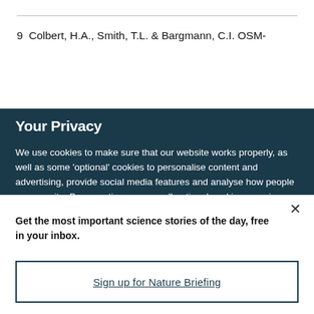9  Colbert, H.A., Smith, T.L. & Bargmann, C.I. OSM-
Your Privacy
We use cookies to make sure that our website works properly, as well as some ‘optional’ cookies to personalise content and advertising, provide social media features and analyse how people use our site. By accepting some or all optional cookies you give consent to the processing of your personal data, including transfer to third parties, some in countries outside of the European Economic Area that do not offer the same data protection standards as the country where you live. You can decide which optional cookies to accept by clicking on ‘Manage Settings’, where you can
Get the most important science stories of the day, free in your inbox.
Sign up for Nature Briefing